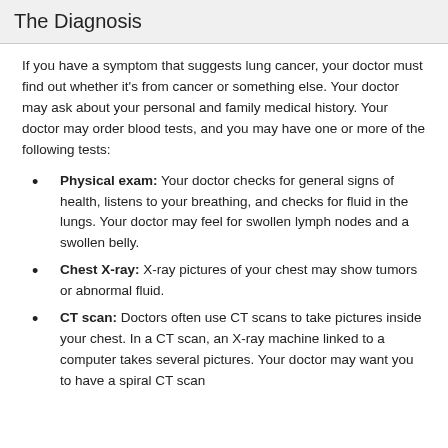The Diagnosis
If you have a symptom that suggests lung cancer, your doctor must find out whether it's from cancer or something else. Your doctor may ask about your personal and family medical history. Your doctor may order blood tests, and you may have one or more of the following tests:
Physical exam: Your doctor checks for general signs of health, listens to your breathing, and checks for fluid in the lungs. Your doctor may feel for swollen lymph nodes and a swollen belly.
Chest X-ray: X-ray pictures of your chest may show tumors or abnormal fluid.
CT scan: Doctors often use CT scans to take pictures inside your chest. In a CT scan, an X-ray machine linked to a computer takes several pictures. Your doctor may want you to have a spiral CT scan